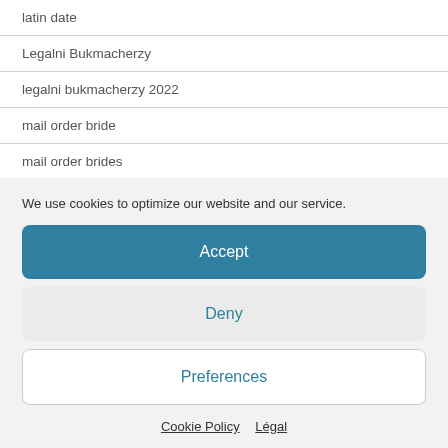latin date
Legalni Bukmacherzy
legalni bukmacherzy 2022
mail order bride
mail order brides
We use cookies to optimize our website and our service.
Accept
Deny
Preferences
Cookie Policy   Légal